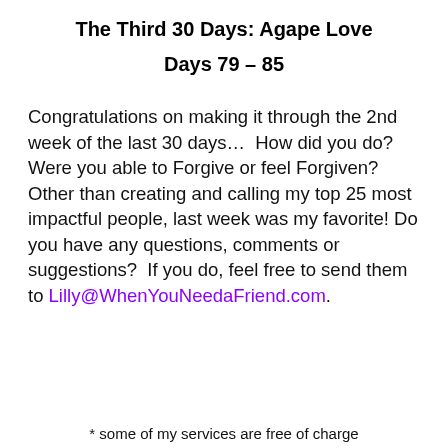The Third 30 Days:  Agape Love
Days 79 – 85
Congratulations on making it through the 2nd week of the last 30 days…  How did you do? Were you able to Forgive or feel Forgiven? Other than creating and calling my top 25 most impactful people, last week was my favorite! Do you have any questions, comments or suggestions?  If you do, feel free to send them to Lilly@WhenYouNeedaFriend.com.
* some of my services are free of charge